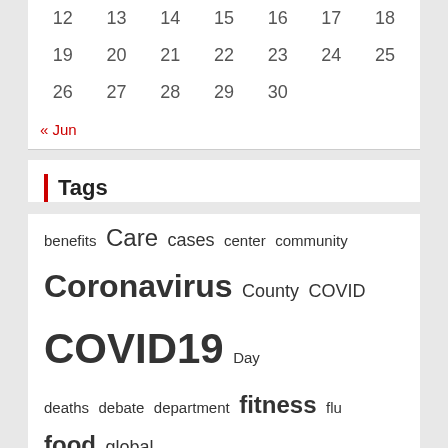| 12 | 13 | 14 | 15 | 16 | 17 | 18 |
| 19 | 20 | 21 | 22 | 23 | 24 | 25 |
| 26 | 27 | 28 | 29 | 30 |  |  |
« Jun
Tags
benefits Care cases center community Coronavirus County COVID COVID19 Day deaths debate department fitness flu food global Health Healthy Hospital House insurance issues Latest Market medical Mental Million News officials Pandemic plan positive public report reports Study treatment Trump Trumps vaccine Virus wellness White world